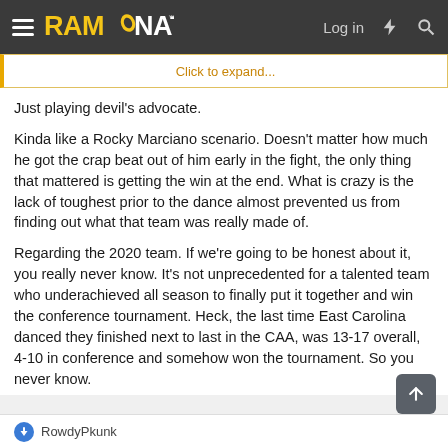RAM NATION — Log in
Click to expand...
Just playing devil's advocate.

Kinda like a Rocky Marciano scenario. Doesn't matter how much he got the crap beat out of him early in the fight, the only thing that mattered is getting the win at the end. What is crazy is the lack of toughest prior to the dance almost prevented us from finding out what that team was really made of.

Regarding the 2020 team. If we're going to be honest about it, you really never know. It's not unprecedented for a talented team who underachieved all season to finally put it together and win the conference tournament. Heck, the last time East Carolina danced they finished next to last in the CAA, was 13-17 overall, 4-10 in conference and somehow won the tournament. So you never know.
RowdyPkunk